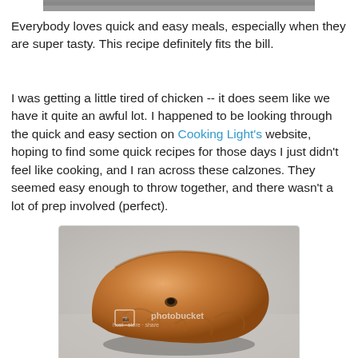[Figure (photo): Top portion of a photo visible at the very top of the page, cropped]
Everybody loves quick and easy meals, especially when they are super tasty. This recipe definitely fits the bill.
I was getting a little tired of chicken -- it does seem like we have it quite an awful lot. I happened to be looking through the quick and easy section on Cooking Light's website, hoping to find some quick recipes for those days I just didn't feel like cooking, and I ran across these calzones. They seemed easy enough to throw together, and there wasn't a lot of prep involved (perfect).
[Figure (photo): Photo of a baked calzone on a light surface, with a Photobucket watermark overlay]